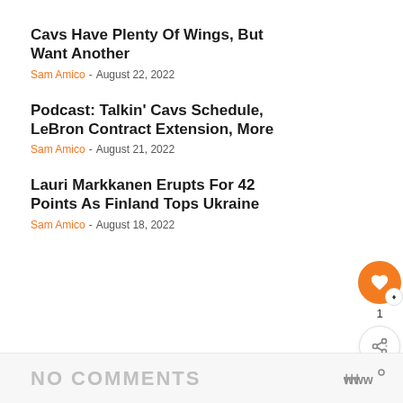Cavs Have Plenty Of Wings, But Want Another
Sam Amico - August 22, 2022
Podcast: Talkin' Cavs Schedule, LeBron Contract Extension, More
Sam Amico - August 21, 2022
Lauri Markkanen Erupts For 42 Points As Finland Tops Ukraine
Sam Amico - August 18, 2022
NO COMMENTS